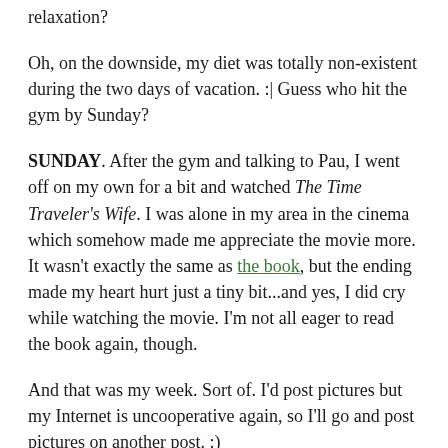relaxation?
Oh, on the downside, my diet was totally non-existent during the two days of vacation. :| Guess who hit the gym by Sunday?
SUNDAY. After the gym and talking to Pau, I went off on my own for a bit and watched The Time Traveler's Wife. I was alone in my area in the cinema which somehow made me appreciate the movie more. It wasn't exactly the same as the book, but the ending made my heart hurt just a tiny bit...and yes, I did cry while watching the movie. I'm not all eager to read the book again, though.
And that was my week. Sort of. I'd post pictures but my Internet is uncooperative again, so I'll go and post pictures on another post. :)
So what about you? How was your holiday weekend? :)